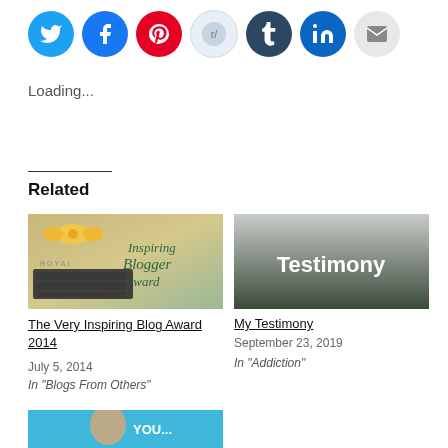[Figure (other): Row of social media share icon circles: Twitter (blue bird), Facebook (blue f), Pinterest (red P), Reddit (light blue alien), Tumblr (dark blue t), LinkedIn (blue in), Email (grey envelope)]
Loading...
Related
[Figure (photo): Inspiring Blogger Award 2014 image showing a vintage typewriter with a ribbon bow and script text reading 'Inspiring Blogger Award']
The Very Inspiring Blog Award 2014
July 5, 2014
In "Blogs From Others"
[Figure (photo): Testimony image - dark grey to white gradient background with white bold text reading 'Testimony']
My Testimony
September 23, 2019
In "Addiction"
[Figure (photo): Partially visible image at the bottom showing a woman with text overlay reading 'you...' on a blue background]